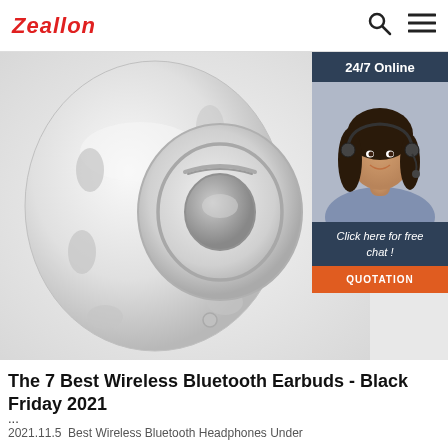Zeallon
[Figure (photo): Close-up photo of a white cylindrical Bluetooth speaker/earbud case with silver metallic accents and circular button on front, with a customer service representative chat widget overlay on the right side showing '24/7 Online', a photo of a woman with headset, 'Click here for free chat!' text, and an orange QUOTATION button]
The 7 Best Wireless Bluetooth Earbuds - Black Friday 2021
...
2021.11.5  Best Wireless Bluetooth Headphones Under